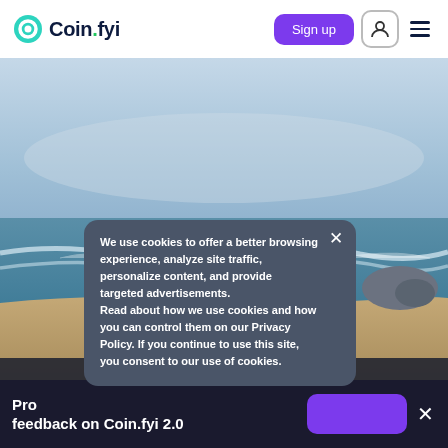Coin.fyi — Sign up
[Figure (photo): Beach photo showing ocean waves, sandy shore, rocks in background, and hazy blue sky]
We use cookies to offer a better browsing experience, analyze site traffic, personalize content, and provide targeted advertisements. Read about how we use cookies and how you can control them on our Privacy Policy. If you continue to use this site, you consent to our use of cookies.
Pro... feedback on Coin.fyi 2.0